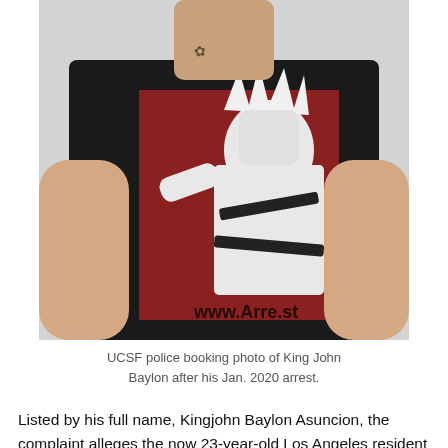[Figure (photo): UCSF police booking photo of King John Baylon. Subject wearing a black t-shirt with anime graphic (red background character design). A watermark reads www.Arre.st on the lower right of the photo.]
UCSF police booking photo of King John Baylon after his Jan. 2020 arrest.
Listed by his full name, Kingjohn Baylon Asuncion, the complaint alleges the now 23-year-old Los Angeles resident enticed a 13-year-old girl “to produce and send him child pornography on Instagram during the